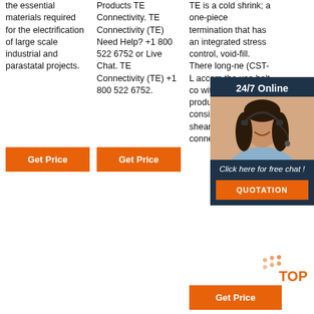the essential materials required for the electrification of large scale industrial and parastatal projects.
Products TE Connectivity. TE Connectivity (TE) Need Help? +1 800 522 6752 or Live Chat. TE Connectivity (TE) +1 800 522 6752.
TE is a cold shrink; a one-piece termination that has an integrated stress control, void-fill. There long-ne (CST-L accom the use bolt co without taping. produ accessories consist of ASBT shearbolt terminal connectors.
[Figure (photo): Customer service representative woman with headset, smiling, overlaid on a dark blue chat popup panel with '24/7 Online' header and 'Click here for free chat!' call to action and orange QUOTATION button]
[Figure (logo): TOP logo with orange dots and orange text]